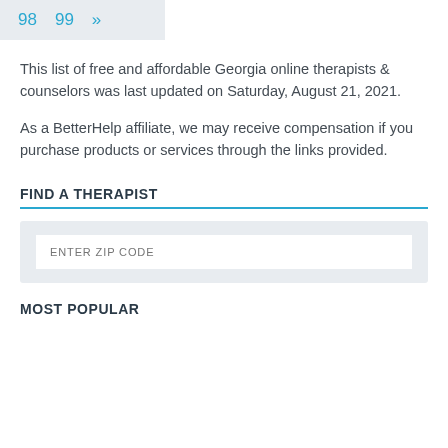98  99  »
This list of free and affordable Georgia online therapists & counselors was last updated on Saturday, August 21, 2021.
As a BetterHelp affiliate, we may receive compensation if you purchase products or services through the links provided.
FIND A THERAPIST
[Figure (other): ZIP code input field with placeholder text ENTER ZIP CODE inside a light gray container]
MOST POPULAR